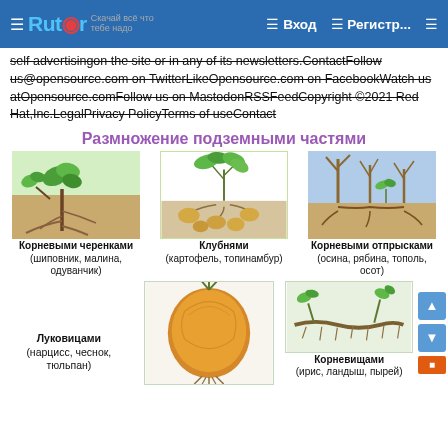Rutor — Вход — Регистр...
self advertisingon the site or in any of its newsletters.ContactFollow us@opensource.com on TwitterLikeOpensource.com on FacebookWatch us atOpensource.comFollow us on MastodonRSSFeedCopyright ©2021 Red Hat,Inc.LegalPrivacy PolicyTerms of useContact
Размножение подземными частями
[Figure (illustration): Plant propagation by root cuttings (шиповник, малина, одуванчик) — illustration of plant with exposed roots and new shoots]
Корневыми черенками (шиповник, малина, одуванчик)
[Figure (illustration): Plant propagation by tubers (картофель, топинамбур) — potato plant with tubers]
Клубнями (картофель, топинамбур)
[Figure (illustration): Plant propagation by root sprouts (осина, рябина, тополь, осот) — tree with root sprouts]
Корневыми отпрысками (осина, рябина, тополь, осот)
[Figure (illustration): Plant propagation by bulbs (нарцисс, чеснок, тюльпан) — onion/bulb illustration]
Луковицами (нарцисс, чеснок, тюльпан)
[Figure (illustration): Plant propagation by rhizomes (ирис, ландыш, пырей) — rhizome illustration]
Корневищами (ирис, ландыш, пырей)